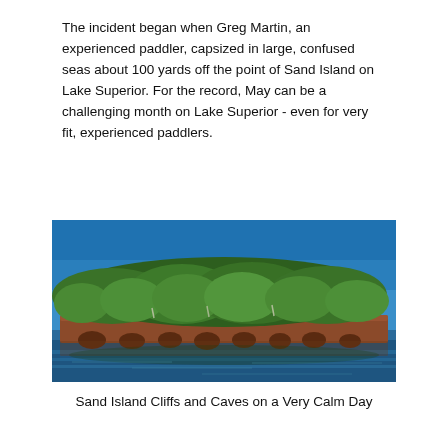The incident began when Greg Martin, an experienced paddler, capsized in large, confused seas about 100 yards off the point of Sand Island on Lake Superior. For the record, May can be a challenging month on Lake Superior - even for very fit, experienced paddlers.
[Figure (photo): Photograph of Sand Island on Lake Superior showing red sandstone cliffs and caves at water level, densely forested top with green trees, reflected in calm blue water under a clear blue sky.]
Sand Island Cliffs and Caves on a Very Calm Day